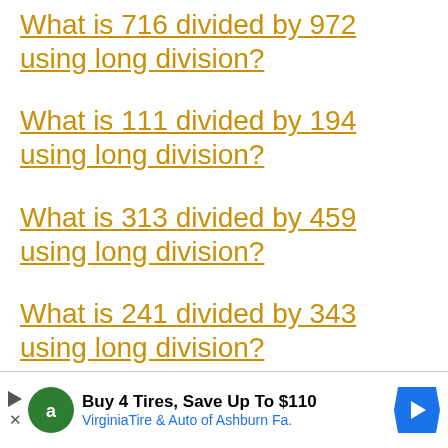What is 716 divided by 972 using long division?
What is 111 divided by 194 using long division?
What is 313 divided by 459 using long division?
What is 241 divided by 343 using long division?
What is 866 divided by 922 using long division?
[Figure (other): Advertisement banner: Buy 4 Tires, Save Up To $110 - VirginiaTire & Auto of Ashburn Fa.]